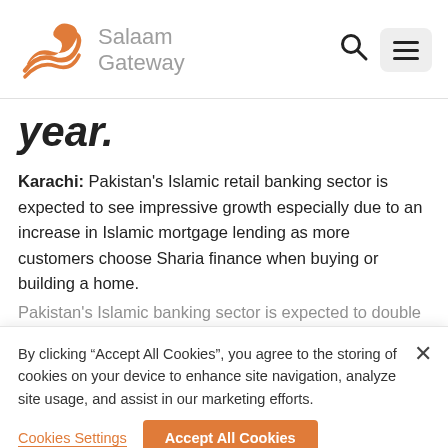[Figure (logo): Salaam Gateway orange wave logo with grey text 'Salaam Gateway']
year.
Karachi: Pakistan's Islamic retail banking sector is expected to see impressive growth especially due to an increase in Islamic mortgage lending as more customers choose Sharia finance when buying or building a home.
[partial line cut off]
By clicking "Accept All Cookies", you agree to the storing of cookies on your device to enhance site navigation, analyze site usage, and assist in our marketing efforts.
Cookies Settings   Accept All Cookies